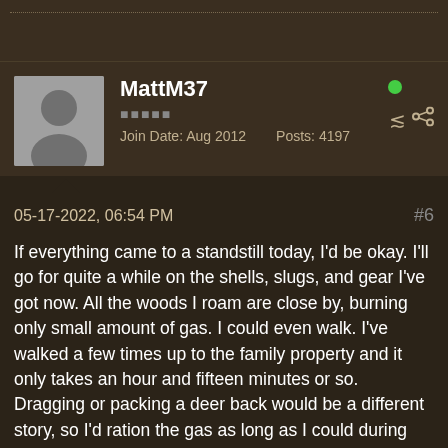MattM37
Join Date: Aug 2012   Posts: 4197
05-17-2022, 06:54 PM
#6
If everything came to a standstill today, I'd be okay. I'll go for quite a while on the shells, slugs, and gear I've got now. All the woods I roam are close by, burning only small amount of gas. I could even walk. I've walked a few times up to the family property and it only takes an hour and fifteen minutes or so. Dragging or packing a deer back would be a different story, so I'd ration the gas as long as I could during deer season.
I do wish I'd bought a lifetime license a while